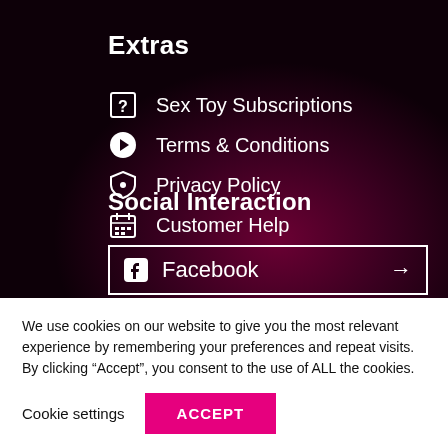Extras
Sex Toy Subscriptions
Terms & Conditions
Privacy Policy
Customer Help
Social Interaction
Facebook →
We use cookies on our website to give you the most relevant experience by remembering your preferences and repeat visits. By clicking “Accept”, you consent to the use of ALL the cookies.
Cookie settings
ACCEPT